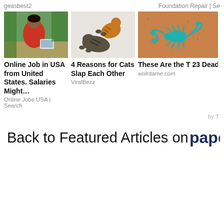geasbest2
Foundation Repair | Se
[Figure (photo): Woman in red outfit sitting at a table with laptop, food and coffee, with tropical plants in background]
[Figure (photo): Two cats fighting/playing — one standing, one on its back]
[Figure (photo): Teal/blue scorpion sculpture on a brown textured background]
Online Job in USA from United States. Salaries Might…
Online Jobs USA | Search
4 Reasons for Cats Slap Each Other
ViralBezz
These Are the T 23 Deadliest Animals on Ear
wolrdame.com
by T
Back to Featured Articles on paperbloc